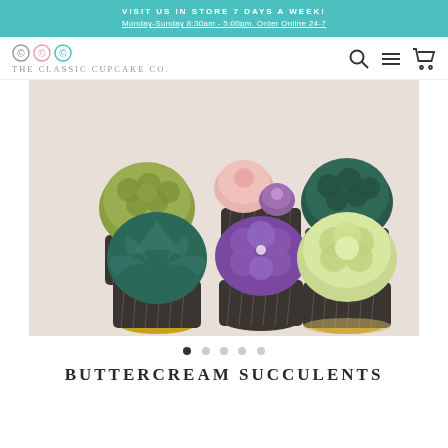VISIT US IN STORE 7 DAYS A WEEK!
Monday-Sunday 8:30am - 5:00pm. Order Online 24-7
[Figure (logo): The Classic Cupcake Co. logo with three circular swirl icons in grey, pink, and teal, and text below reading THE CLASSIC CUPCAKE CO.]
[Figure (photo): Six decorative buttercream succulent and floral cupcakes in dark foil wrappers arranged on a white surface, featuring green succulent, purple flower, teal succulent, light green rosette, pink rose, and dark green star patterns.]
BUTTERCREAM SUCCULENTS